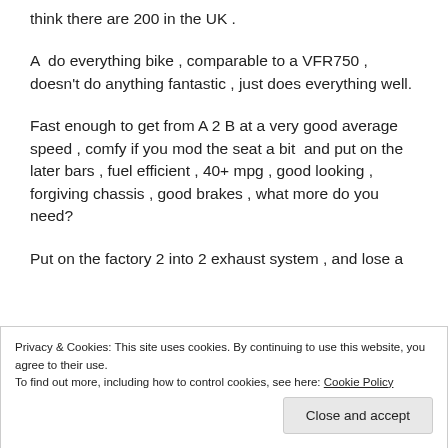think there are 200 in the UK .
A  do everything bike , comparable to a VFR750 , doesn't do anything fantastic , just does everything well.
Fast enough to get from A 2 B at a very good average speed , comfy if you mod the seat a bit  and put on the later bars , fuel efficient , 40+ mpg , good looking , forgiving chassis , good brakes , what more do you need?
Put on the factory 2 into 2 exhaust system , and lose a bit...
Privacy & Cookies: This site uses cookies. By continuing to use this website, you agree to their use.
To find out more, including how to control cookies, see here: Cookie Policy
Close and accept